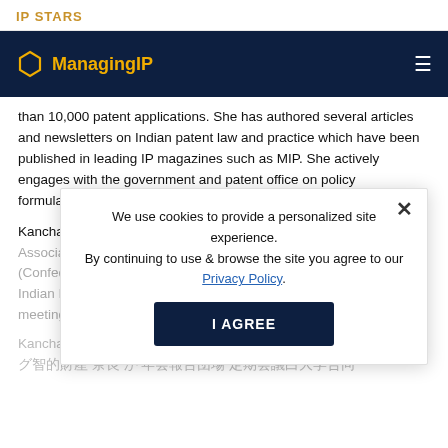IP STARS
[Figure (logo): Managing IP logo with hexagon icon on dark navy navigation bar with hamburger menu icon]
than 10,000 patent applications. She has authored several articles and newsletters on Indian patent law and practice which have been published in leading IP magazines such as MIP. She actively engages with the government and patent office on policy formulations related to IP.
Kanchan Vadehra is a member of APAA (Asian Patent Attorneys Association), INTA (International Trademark Association) and CII (Confederation of Indian Industry). She is a founding member of the Indian IP Professionals at APAA council meetings and INTA annual meetings.
Kanchan Vadehra [Korean/Asian characters] ME [Korean/Asian characters]
We use cookies to provide a personalized site experience. By continuing to use & browse the site you agree to our Privacy Policy.